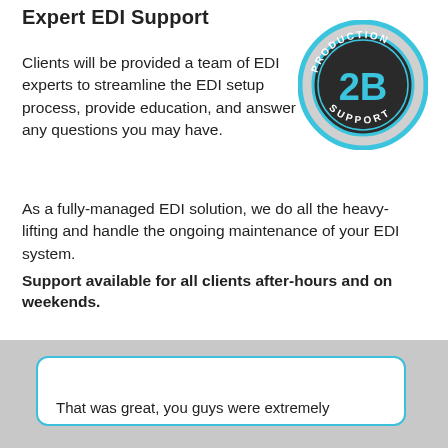Expert EDI Support
Clients will be provided a team of EDI experts to streamline the EDI setup process, provide education, and answer any questions you may have.
[Figure (logo): Circular badge/seal with '2B' icon and text reading 'PRODUCTION SUPPORT' around the edge, in teal/cyan and dark colors.]
As a fully-managed EDI solution, we do all the heavy-lifting and handle the ongoing maintenance of your EDI system.
Support available for all clients after-hours and on weekends.
That was great, you guys were extremely